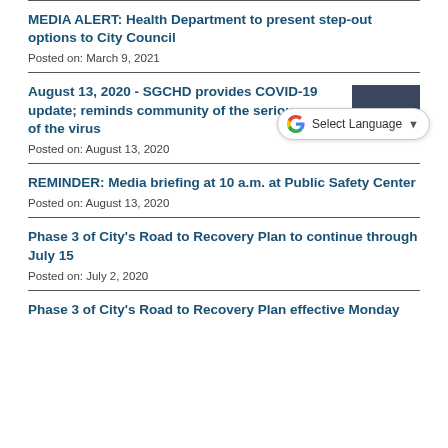MEDIA ALERT: Health Department to present step-out options to City Council
Posted on: March 9, 2021
August 13, 2020 - SGCHD provides COVID-19 update; reminds community of the seriousness of the virus
Posted on: August 13, 2020
REMINDER: Media briefing at 10 a.m. at Public Safety Center
Posted on: August 13, 2020
Phase 3 of City's Road to Recovery Plan to continue through July 15
Posted on: July 2, 2020
Phase 3 of City's Road to Recovery Plan effective Monday